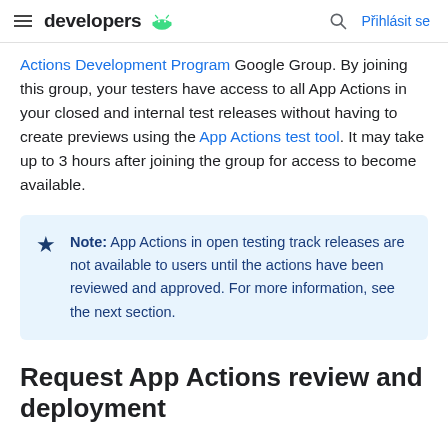developers | Přihlásit se
Actions Development Program Google Group. By joining this group, your testers have access to all App Actions in your closed and internal test releases without having to create previews using the App Actions test tool. It may take up to 3 hours after joining the group for access to become available.
Note: App Actions in open testing track releases are not available to users until the actions have been reviewed and approved. For more information, see the next section.
Request App Actions review and deployment